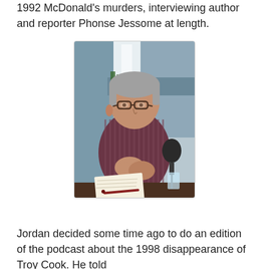1992 McDonald's murders, interviewing author and reporter Phonse Jessome at length.
[Figure (photo): A middle-aged man with grey hair and glasses wearing a striped button-up shirt, sitting at a table with a notebook and pen in front of him and a microphone to his right. Background shows an office or studio setting.]
Jordan decided some time ago to do an edition of the podcast about the 1998 disappearance of Troy Cook. He told